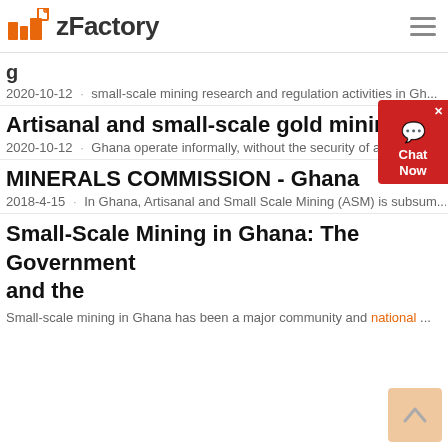zFactory
g...
2020-10-12 · small-scale mining research and regulation activities in Gh...
Artisanal and small-scale gold mining in Gha...
2020-10-12 · Ghana operate informally, without the security of a licence...
MINERALS COMMISSION - Ghana
2018-4-15 · In Ghana, Artisanal and Small Scale Mining (ASM) is subsum...
Small-Scale Mining in Ghana: The Government and the
Small-scale mining in Ghana has been a major community and national ...